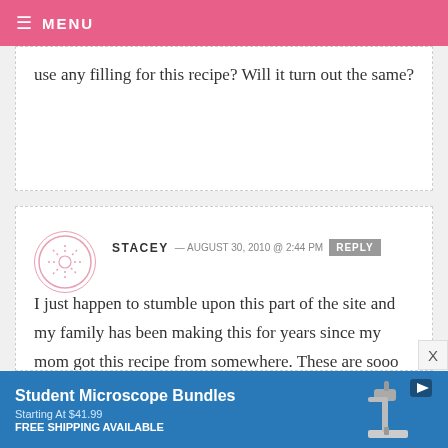MENU
use any filling for this recipe? Will it turn out the same?
STACEY — AUGUST 30, 2010 @ 2:44 PM  REPLY
I just happen to stumble upon this part of the site and my family has been making this for years since my mom got this recipe from somewhere. These are sooo good! We also use blueberry (which seems to be rare in the markets
[Figure (screenshot): Advertisement banner for Student Microscope Bundles, Starting At $41.99, FREE SHIPPING AVAILABLE, with microscope image on right and blue background]